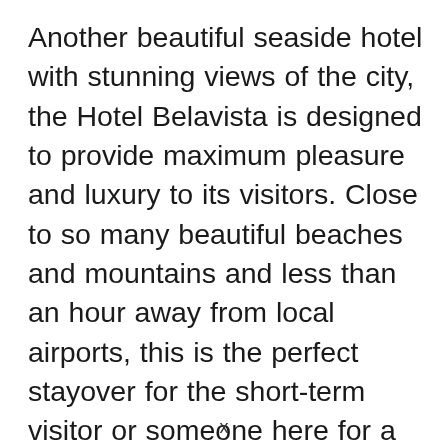Another beautiful seaside hotel with stunning views of the city, the Hotel Belavista is designed to provide maximum pleasure and luxury to its visitors. Close to so many beautiful beaches and mountains and less than an hour away from local airports, this is the perfect stayover for the short-term visitor or someone here for a relaxing local time. Many old cities and ruins are nearby, making this centrally located for tourist attractions, and the full-service facilities of the Hotel Belavista include television, tea and coffee service, wi-fi, heated pools, a tennis court, a gym, a health club, and a
x